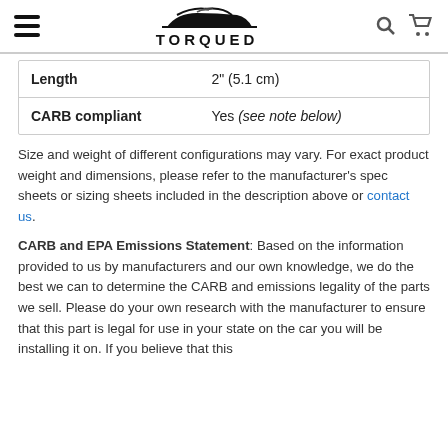TORQUED — site header with hamburger menu, logo, search and cart icons
| Attribute | Value |
| --- | --- |
| Length | 2" (5.1 cm) |
| CARB compliant | Yes (see note below) |
Size and weight of different configurations may vary. For exact product weight and dimensions, please refer to the manufacturer's spec sheets or sizing sheets included in the description above or contact us.
CARB and EPA Emissions Statement: Based on the information provided to us by manufacturers and our own knowledge, we do the best we can to determine the CARB and emissions legality of the parts we sell. Please do your own research with the manufacturer to ensure that this part is legal for use in your state on the car you will be installing it on. If you believe that this